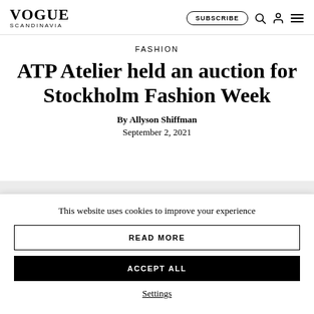VOGUE SCANDINAVIA | SUBSCRIBE | Search | Account | Menu
FASHION
ATP Atelier held an auction for Stockholm Fashion Week
By Allyson Shiffman
September 2, 2021
This website uses cookies to improve your experience
READ MORE
ACCEPT ALL
Settings